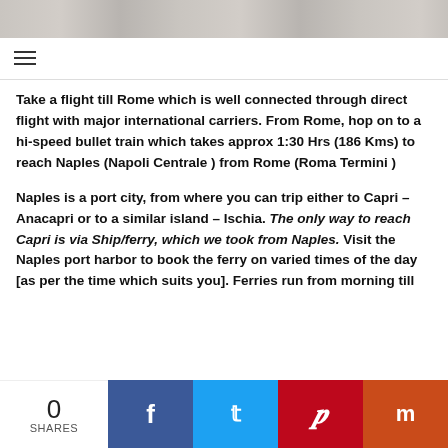[Figure (photo): Partial top image showing a child, cropped at top of page]
≡ (hamburger menu icon)
Take a flight till Rome which is well connected through direct flight with major international carriers. From Rome, hop on to a hi-speed bullet train which takes approx 1:30 Hrs (186 Kms) to reach Naples (Napoli Centrale ) from Rome (Roma Termini )
Naples is a port city, from where you can trip either to Capri – Anacapri or to a similar island – Ischia. The only way to reach Capri is via Ship/ferry, which we took from Naples. Visit the Naples port harbor to book the ferry on varied times of the day [as per the time which suits you]. Ferries run from morning till
0 SHARES | Facebook | Twitter | Pinterest | Mixx